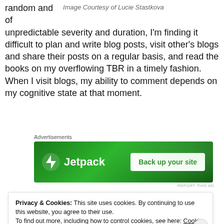random and
of
unpredictable severity and duration, I'm finding it difficult to plan and write blog posts, visit other's blogs and share their posts on a regular basis, and read the books on my overflowing TBR in a timely fashion. When I visit blogs, my ability to comment depends on my cognitive state at that moment.
Image Courtesy of Lucie Stastkova
[Figure (other): Jetpack advertisement banner: green background with Jetpack logo and 'Back up your site' button]
Privacy & Cookies: This site uses cookies. By continuing to use this website, you agree to their use.
To find out more, including how to control cookies, see here: Cookie Policy